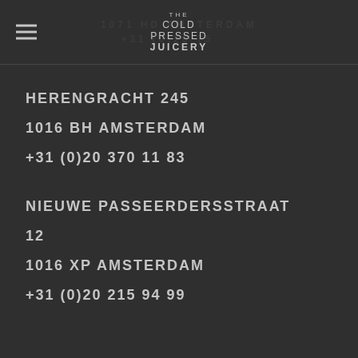THE COLD PRESSED JUICERY
HERENGRACHT 245
1016 BH AMSTERDAM
+31 (0)20 370 11 83
NIEUWE PASSEERDERSSTRAAT 12
1016 XP AMSTERDAM
+31 (0)20 215 94 99